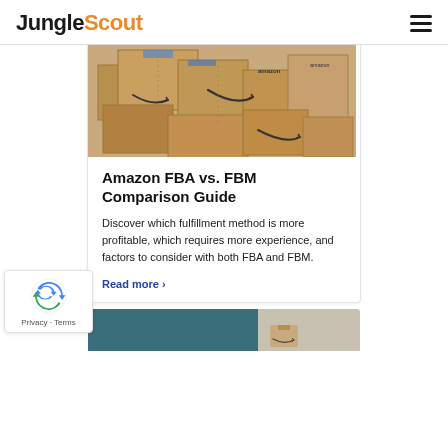JungleScout
[Figure (photo): Stack of Amazon shipping boxes with smile logo, brown cardboard, some with blue tape]
Amazon FBA vs. FBM Comparison Guide
Discover which fulfillment method is more profitable, which requires more experience, and factors to consider with both FBA and FBM.
Read more ›
[Figure (photo): Partial image of a teal/dark colored door or surface with an Amazon package at the bottom]
[Figure (logo): reCAPTCHA badge with blue recycling arrow icon, Privacy and Terms links]